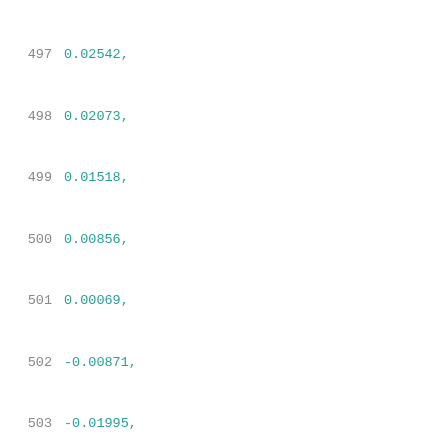497    0.02542,
498    0.02073,
499    0.01518,
500    0.00856,
501    0.00069,
502    -0.00871,
503    -0.01995,
504    -0.03339,
505    -0.0495,
506    -0.06878,
507    -0.09191,
508    -0.11963,
509    -0.15286,
510    -0.19271,
511    -0.24048,
512    -0.29781,
513    -0.36659,
514    -0.4491,
515    -0.54811,
516    -0.66687
517    ],
518    [